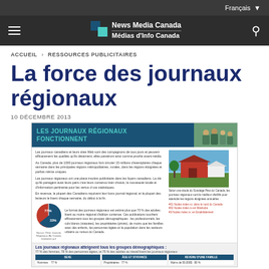Français ▾
News Media Canada / Médias d'Info Canada
ACCUEIL › RESSOURCES PUBLICITAIRES
La force des journaux régionaux
10 DÉCEMBRE 2013
[Figure (infographic): Infographic titled 'LES JOURNAUX RÉGIONAUX FONCTIONNENT' showing statistics about regional newspapers in Canada, including a pie chart showing 77% and 33% segments, and demographic data tables at the bottom.]